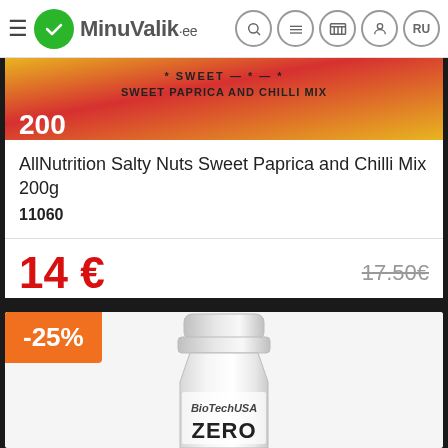MinuValik.ee
[Figure (photo): AllNutrition Salty Nuts Sweet Paprica and Chilli Mix 200g product image — colorful packaging]
AllNutrition Salty Nuts Sweet Paprica and Chilli Mix 200g
11060
14 €
17.50€
-25%
[Figure (photo): BioTechUSA ZERO product bottle — white/transparent bottle with BioTechUSA logo and ZERO text]